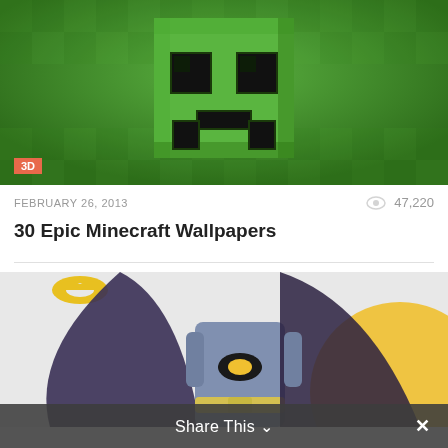[Figure (photo): Minecraft Creeper face close-up on a 3D green pixelated background. An orange-red badge with '3D' label is in the bottom-left corner of the image.]
FEBRUARY 26, 2013
47,220
30 Epic Minecraft Wallpapers
[Figure (photo): Batman in classic gray and purple costume with cape and bat logo on chest, yellow bat symbols in background, golden circle on right side.]
Share This ∨ ✕